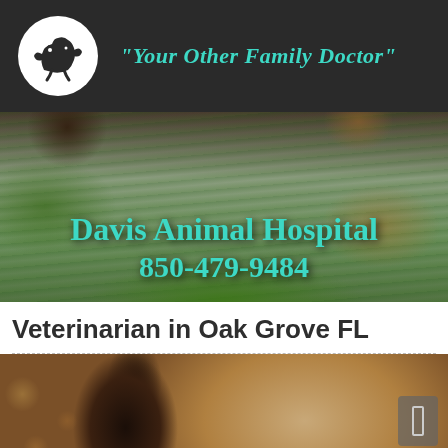"Your Other Family Doctor"
Davis Animal Hospital
850-479-9484
Veterinarian in Oak Grove FL
[Figure (photo): A young woman with blonde hair and blue eyes posing with a small dark-colored dog, bokeh background lighting]